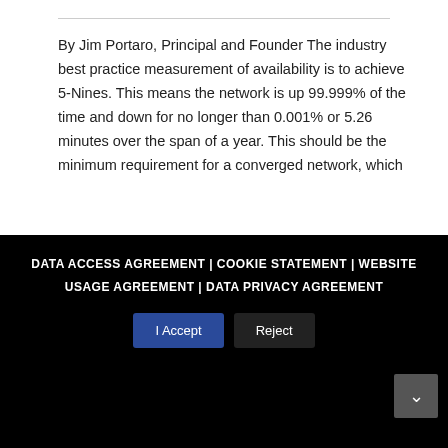By Jim Portaro, Principal and Founder The industry best practice measurement of availability is to achieve 5-Nines. This means the network is up 99.999% of the time and down for no longer than 0.001% or 5.26 minutes over the span of a year. This should be the minimum requirement for a converged network, which
Read More >
DATA ACCESS AGREEMENT | COOKIE STATEMENT | WEBSITE USAGE AGREEMENT | DATA PRIVACY AGREEMENT